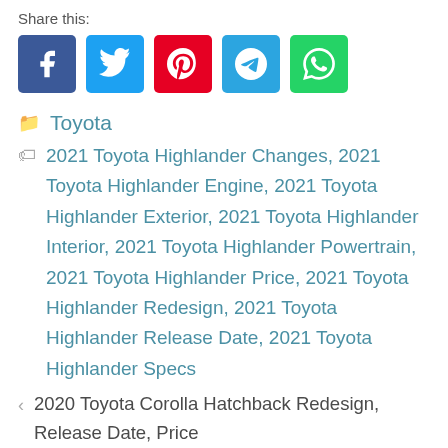Share this:
[Figure (infographic): Social sharing icon buttons: Facebook (blue), Twitter (light blue), Pinterest (red), Telegram (blue), WhatsApp (green)]
Toyota
2021 Toyota Highlander Changes, 2021 Toyota Highlander Engine, 2021 Toyota Highlander Exterior, 2021 Toyota Highlander Interior, 2021 Toyota Highlander Powertrain, 2021 Toyota Highlander Price, 2021 Toyota Highlander Redesign, 2021 Toyota Highlander Release Date, 2021 Toyota Highlander Specs
< 2020 Toyota Corolla Hatchback Redesign, Release Date, Price
> 2020 Toyota Mirai Price, Redesign, Specs, Interior, and Release Date